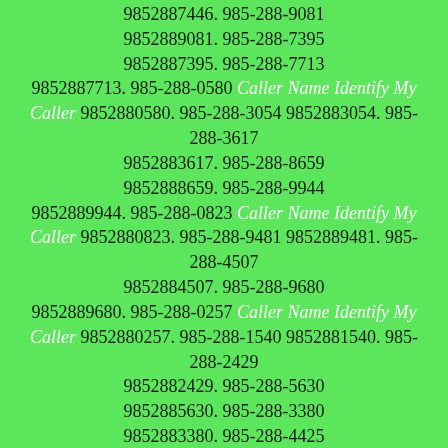9852887446. 985-288-9081 9852889081. 985-288-7395 9852887395. 985-288-7713 9852887713. 985-288-0580 Caller Name Identify My Caller 9852880580. 985-288-3054 9852883054. 985-288-3617 9852883617. 985-288-8659 9852888659. 985-288-9944 9852889944. 985-288-0823 Caller Name Identify My Caller 9852880823. 985-288-9481 9852889481. 985-288-4507 9852884507. 985-288-9680 9852889680. 985-288-0257 Caller Name Identify My Caller 9852880257. 985-288-1540 9852881540. 985-288-2429 9852882429. 985-288-5630 9852885630. 985-288-3380 9852883380. 985-288-4425 9852884425. 985-288-5732 9852885732. 985-288-5950 9852885950. 985-288-5376 9852885376. 985-288-1795 9852881795. 985-288-6535 9852886535. 985-288-7671 9852887671. 985-288-6519